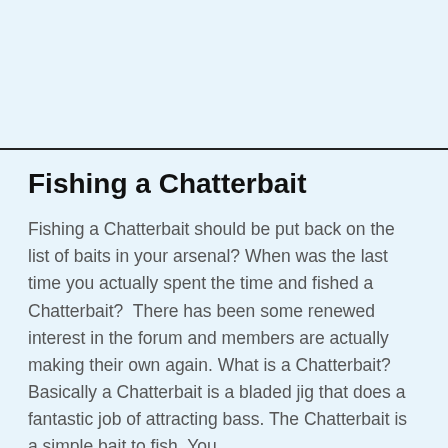Fishing a Chatterbait
Fishing a Chatterbait should be put back on the list of baits in your arsenal? When was the last time you actually spent the time and fished a Chatterbait?  There has been some renewed interest in the forum and members are actually making their own again. What is a Chatterbait? Basically a Chatterbait is a bladed jig that does a fantastic job of attracting bass. The Chatterbait is a simple bait to fish. You